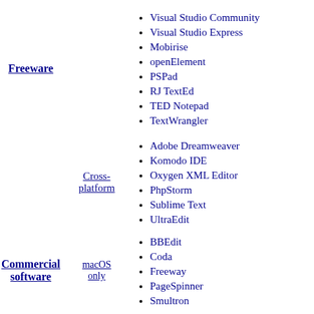Visual Studio Community
Visual Studio Express
Mobirise
openElement
PSPad
RJ TextEd
TED Notepad
TextWrangler
Freeware
Cross-platform
Adobe Dreamweaver
Komodo IDE
Oxygen XML Editor
PhpStorm
Sublime Text
UltraEdit
macOS only
Commercial software
BBEdit
Coda
Freeway
PageSpinner
Smultron
Codelobster
CoffeeCup HTML Editor
EmEditor
Visual Studio